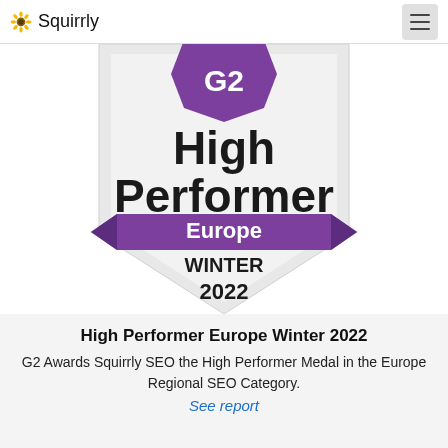Squirrly
[Figure (illustration): G2 High Performer Europe Winter 2022 badge. Shield shape with G2 purple logo at top, bold text 'High Performer', purple banner with 'Europe', bold text 'WINTER 2022'.]
High Performer Europe Winter 2022
G2 Awards Squirrly SEO the High Performer Medal in the Europe Regional SEO Category.
See report